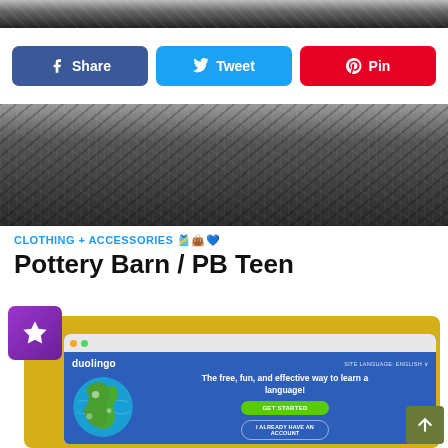[Figure (photo): Cropped top portion of a dark woven textile fabric image]
Share
Tweet
Pin
[Figure (photo): Dark woven textile/knit fabric close-up photograph]
CLOTHING + ACCESSORIES 🎽👜💙
Pottery Barn / PB Teen
[Figure (screenshot): Screenshot of Duolingo website on a yellow card background with a purple star badge. The browser shows the Duolingo homepage with globe illustration, tagline 'The free, fun, and effective way to learn a language!', GET STARTED button, and I ALREADY HAVE AN ACCOUNT button.]